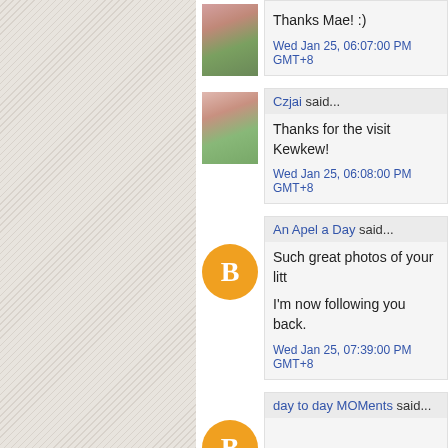[Figure (photo): Sidebar with herringbone/chevron texture pattern in beige/tan color]
Thanks Mae! :)
Wed Jan 25, 06:07:00 PM GMT+8
Czjai said...
Thanks for the visit Kewkew!
Wed Jan 25, 06:08:00 PM GMT+8
An Apel a Day said...
Such great photos of your litt
I'm now following you back.
Wed Jan 25, 07:39:00 PM GMT+8
day to day MOMents said...